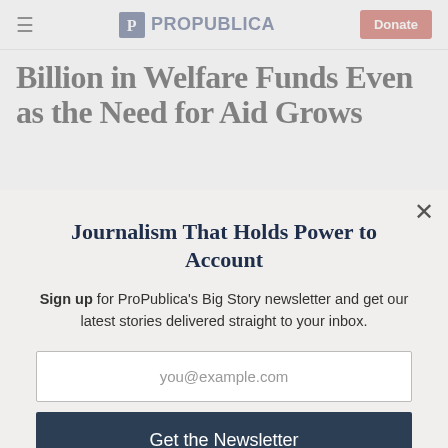ProPublica — Donate
Billion in Welfare Funds Even as the Need for Aid Grows
Journalism That Holds Power to Account
Sign up for ProPublica's Big Story newsletter and get our latest stories delivered straight to your inbox.
you@example.com
Get the Newsletter
No thanks, I'm all set
This site is protected by reCAPTCHA and the Google Privacy Policy and Terms of Service apply.